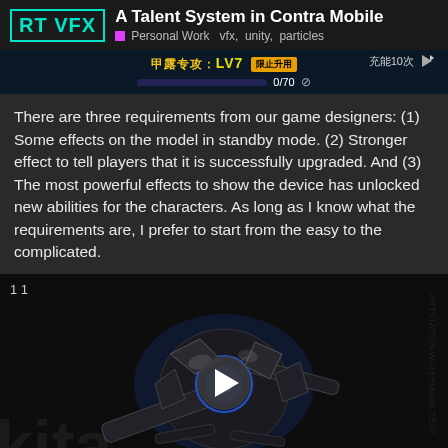RT VFX — A Talent System in Contra Mobile | Personal Work  vfx,  unity,  particles
[Figure (screenshot): Game UI screenshot showing a talent/level upgrade bar: '甲露专攻：LV7' with progress 0/70, a blue progress bar, a question mark icon, and '充能10次' with an arrow icon on the right. Dark blue background.]
There are three requirements from our game designers: (1) Some effects on the model in standby mode. (2) Stronger effect to tell players that it is successfully upgraded. And (3) The most powerful effects to show the device has unlocked new abilities for the characters. As long as I know what the requirements are, I prefer to start from the easy to the complicated.
[Figure (screenshot): Video thumbnail showing a futuristic white/silver robotic arm or weapon device with glowing blue energy elements, on a dark background with a faint watermark. A play button is displayed in the center. A counter showing '1/12' appears in the bottom-right corner. The number '11' is shown in the top-left.]